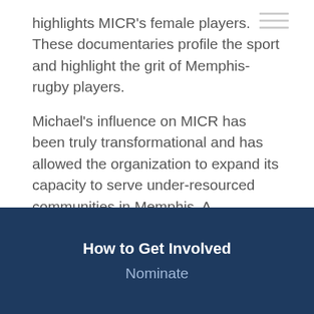highlights MICR’s female players. These documentaries profile the sport and highlight the grit of Memphis-rugby players.
Michael’s influence on MICR has been truly transformational and has allowed the organization to expand its capacity to serve under-resourced communities in Memphis. A memorable moment for Michael was filming the Freedom Preparatory Academy’s girls rugby team winning the 2017 Tennessee State High School 7s Championship. He was so proud of the team that he designed, funded and presented each girl with a state championship ring during MICR’s first gala fundraiser.
How to Get Involved
Nominate